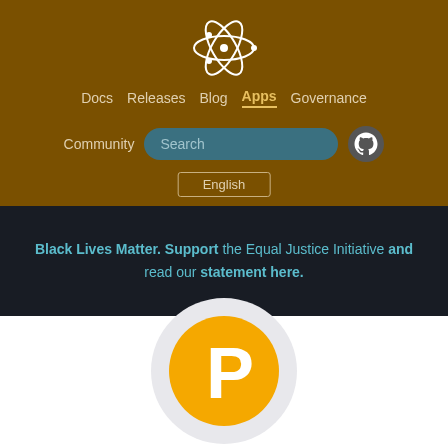[Figure (logo): Atom editor logo icon in white on brown background]
Docs  Releases  Blog  Apps  Governance  Community  Search  English
Black Lives Matter. Support the Equal Justice Initiative and read our statement here.
[Figure (logo): Pencil app icon - orange circle with white letter P, on light grey circular background]